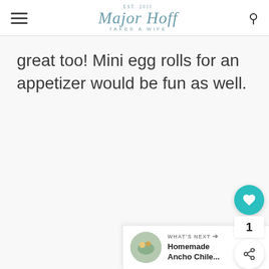Major Hoff Takes a Wife — EST. 2011
great too! Mini egg rolls for an appetizer would be fun as well.
[Figure (other): Floating action buttons: teal heart button (save/favorite) with count '1', and a white share button]
[Figure (other): What's Next promotional bar with a thumbnail image and text 'Homemade Ancho Chile...']